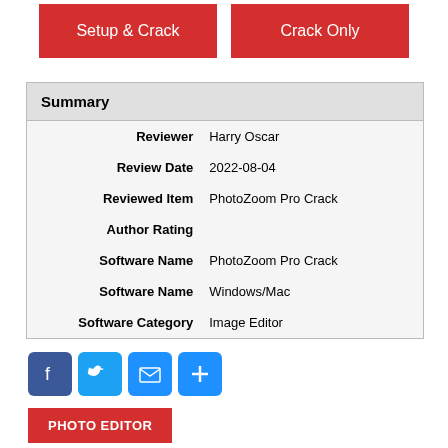[Figure (other): Two red buttons labeled 'Setup & Crack' and 'Crack Only']
| Reviewer | Harry Oscar |
| Review Date | 2022-08-04 |
| Reviewed Item | PhotoZoom Pro Crack |
| Author Rating |  |
| Software Name | PhotoZoom Pro Crack |
| Software Name | Windows/Mac |
| Software Category | Image Editor |
[Figure (other): Social share icons: Facebook, Twitter, Email, Plus]
PHOTO EDITOR